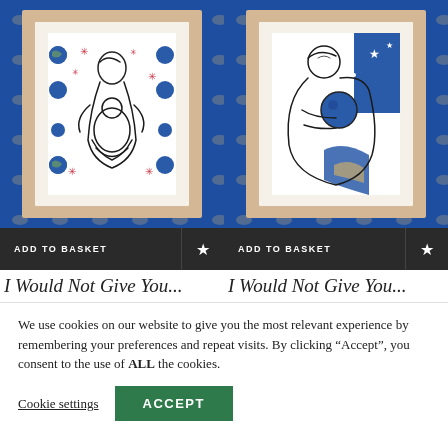[Figure (photo): Two framed artworks displayed against a blue patterned wallpaper. Left: a line drawing of a mother and child with blue circles and red star motifs. Right: a line drawing of a mother and child with blue shapes on a white background. Each card has an 'ADD TO BASKET' button bar with a star/favourite icon at the bottom.]
I Would Not Give You...
I Would Not Give You...
We use cookies on our website to give you the most relevant experience by remembering your preferences and repeat visits. By clicking “Accept”, you consent to the use of ALL the cookies.
Cookie settings
ACCEPT